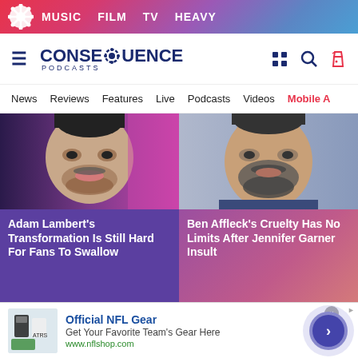MUSIC  FILM  TV  HEAVY
[Figure (logo): Consequence Podcasts logo with gear icon]
News  Reviews  Features  Live  Podcasts  Videos  Mobile A
[Figure (photo): Close-up of Adam Lambert's face with purple background]
Adam Lambert's Transformation Is Still Hard For Fans To Swallow
[Figure (photo): Close-up of Ben Affleck's face with beard]
Ben Affleck's Cruelty Has No Limits After Jennifer Garner Insult
[Figure (photo): Close-up of man's face (Trump) with purple background]
[Figure (photo): Close-up of man's face with grey background]
Official NFL Gear
Get Your Favorite Team's Gear Here
www.nflshop.com